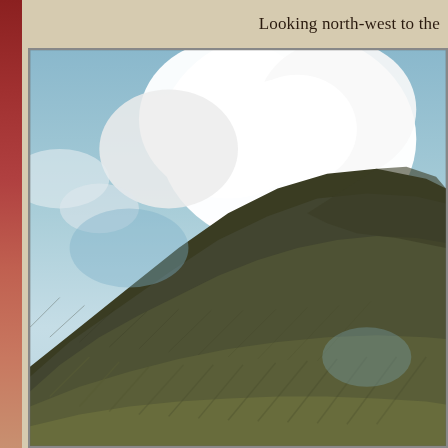Looking north-west to the
[Figure (photo): Photograph of a steep grassy hillside/moorland slope rising diagonally from lower-left to upper-right, with a cloudy sky above showing bright white clouds against blue sky. The hill is covered with rough moorland grass and dark earth. The viewpoint looks north-west.]